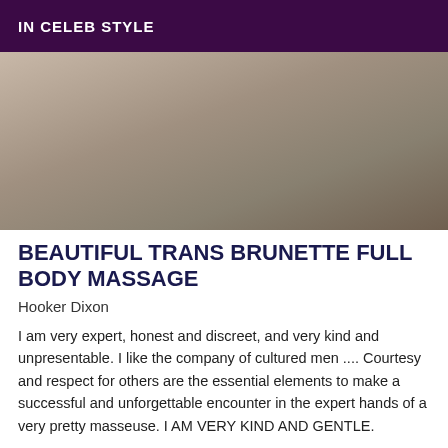IN CELEB STYLE
[Figure (photo): Close-up photo of legs/lower body against a grey background]
BEAUTIFUL TRANS BRUNETTE FULL BODY MASSAGE
Hooker Dixon
I am very expert, honest and discreet, and very kind and unpresentable. I like the company of cultured men .... Courtesy and respect for others are the essential elements to make a successful and unforgettable encounter in the expert hands of a very pretty masseuse. I AM VERY KIND AND GENTLE.